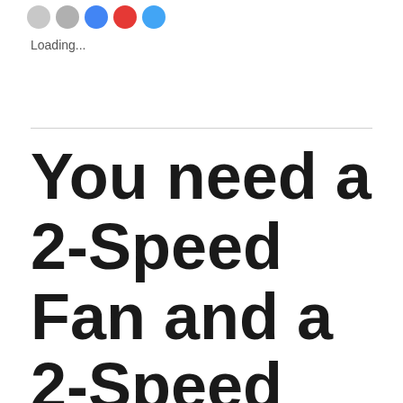[Figure (other): Row of five social share icon circles: two grey, one blue, one red, one light blue]
Loading...
You need a 2-Speed Fan and a 2-Speed Motor When